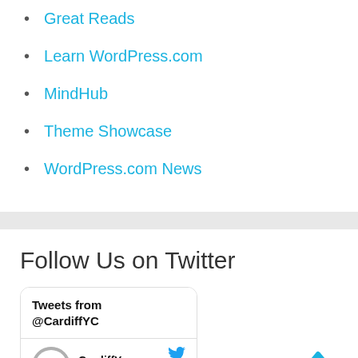Great Reads
Learn WordPress.com
MindHub
Theme Showcase
WordPress.com News
Follow Us on Twitter
Tweets from @CardiffYC
CardiffYo... @... · Aug 18